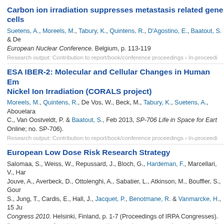Carbon ion irradiation suppresses metastasis related gene cells
Suetens, A., Moreels, M., Tabury, K., Quintens, R., D'Agostino, E., Baatout, S. & De... European Nuclear Conference. Belgium, p. 113-119
Research output: Contribution to report/book/conference proceedings › In-proceedi
ESA IBER-2: Molecular and Cellular Changes in Human Em Nickel Ion Irradiation (CORALS project)
Moreels, M., Quintens, R., De Vos, W., Beck, M., Tabury, K., Suetens, A., Abouelara C., Van Oostveldt, P. & Baatout, S., Feb 2013, SP-706 Life in Space for Eart Online; no. SP-706).
Research output: Contribution to report/book/conference proceedings › In-proceedi
European Low Dose Risk Research Strategy
Salomaa, S., Weiss, W., Repussard, J., Bloch, G., Hardeman, F., Marcellari, V., Har Jouve, A., Averbeck, D., Ottolenghi, A., Sabatier, L., Atkinson, M., Bouffler, S., Gour S., Jung, T., Cardis, E., Hall, J., Jacquet, P., Benotmane, R. & Vanmarcke, H., 15 Ju Congress 2010. Helsinki, Finland, p. 1-7 (Proceedings of IRPA Congresses).
Research output: Contribution to report/book/conference proceedings › In-proceedi
Gene expression changes in mouse fetal fibroblasts after space conditions